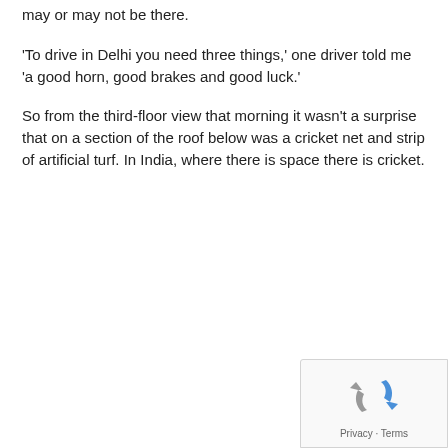may or may not be there.
'To drive in Delhi you need three things,' one driver told me 'a good horn, good brakes and good luck.'
So from the third-floor view that morning it wasn't a surprise that on a section of the roof below was a cricket net and strip of artificial turf. In India, where there is space there is cricket.
[Figure (logo): Google reCAPTCHA badge with rotating arrows icon and Privacy/Terms links]